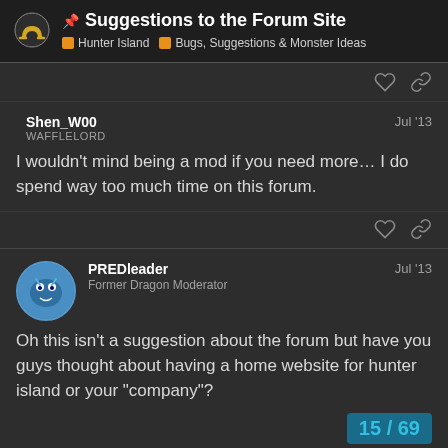📌 Suggestions to the Forum Site | Hunter Island > Bugs, Suggestions & Monster Ideas
Shen_W00
WAFFLELORD
Jul '13
I wouldn't mind being a mod if you need more… I do spend way too much time on this forum.
PREDleader
Former Dragon Moderator
Jul '13
Oh this isn't a suggestion about the forum but have you guys thought about having a home website for hunter island or your "company"?
15 / 69